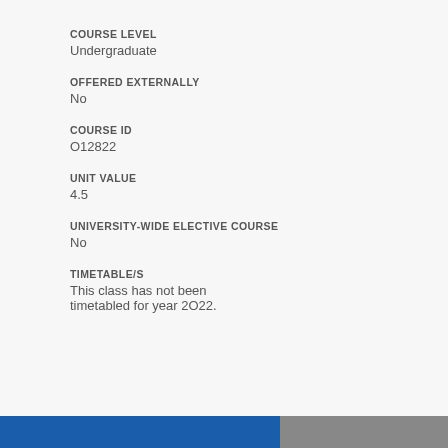COURSE LEVEL
Undergraduate
OFFERED EXTERNALLY
No
COURSE ID
O12822
UNIT VALUE
4.5
UNIVERSITY-WIDE ELECTIVE COURSE
No
TIMETABLE/S
This class has not been timetabled for year 2O22.
CO...